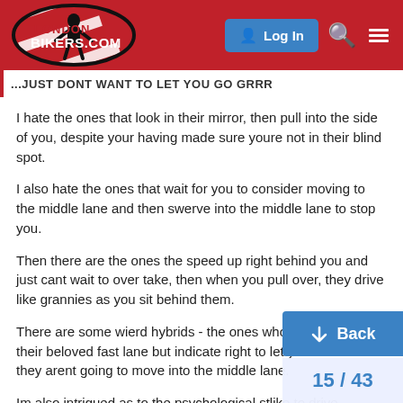LondonBikers.com — Log In
...JUST DONT WANT TO LET YOU GO GRRR
I hate the ones that look in their mirror, then pull into the side of you, despite your having made sure youre not in their blind spot.
I also hate the ones that wait for you to consider moving to the middle lane and then swerve into the middle lane to stop you.
Then there are the ones the speed up right behind you and just cant wait to over take, then when you pull over, they drive like grannies as you sit behind them.
There are some wierd hybrids - the ones who want to stay in their beloved fast lane but indicate right to let you know that they arent going to move into the middle lane.
Im also intrigued as to the psychological st... like to drive between two lanes - greedy c...
15 / 43